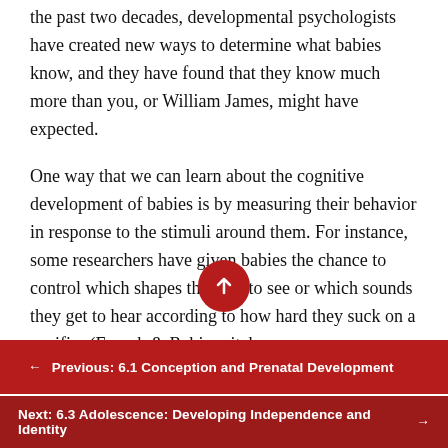the past two decades, developmental psychologists have created new ways to determine what babies know, and they have found that they know much more than you, or William James, might have expected.
One way that we can learn about the cognitive development of babies is by measuring their behavior in response to the stimuli around them. For instance, some researchers have given babies the chance to control which shapes they get to see or which sounds they get to hear according to how hard they suck on a pacifier (Frenub & Rabinovitch,
← Previous: 6.1 Conception and Prenatal Development
Next: 6.3 Adolescence: Developing Independence and Identity →